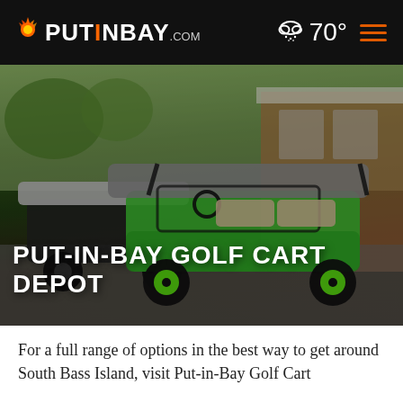PUTINBAY.com  70°
[Figure (photo): Photograph of golf carts parked in front of a brick building. A bright green golf cart is in the foreground, with another cart behind it. The image is overlaid with dark vignette.]
PUT-IN-BAY GOLF CART DEPOT
For a full range of options in the best way to get around South Bass Island, visit Put-in-Bay Golf Cart